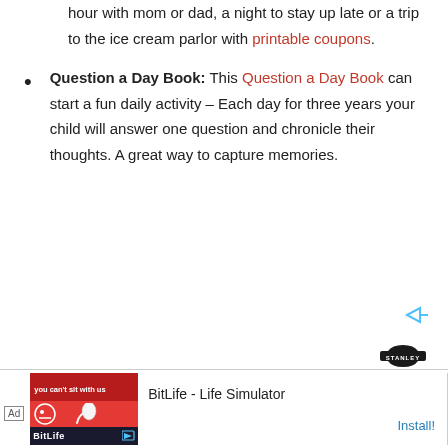hour with mom or dad, a night to stay up late or a trip to the ice cream parlor with printable coupons.
Question a Day Book: This Question a Day Book can start a fun daily activity – Each day for three years your child will answer one question and chronicle their thoughts. A great way to capture memories.
[Figure (other): AdChoices icon and ad indicator area with triangle play icon]
[Figure (logo): Stanley brand logo with red circle plus button below]
Ad BitLife - Life Simulator Install!